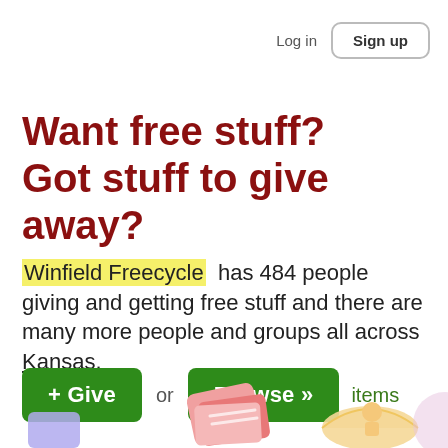Log in  Sign up
Want free stuff? Got stuff to give away?
Winfield Freecycle has 484 people giving and getting free stuff and there are many more people and groups all across Kansas.
+ Give  or  Browse >>  items
[Figure (illustration): Decorative bottom illustrations showing stylized books, umbrella, and figures in pink, purple, and tan colors]